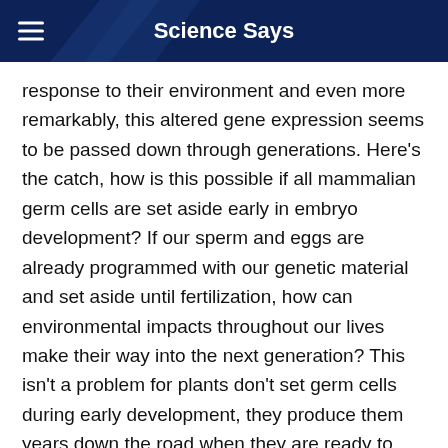Science Says
response to their environment and even more remarkably, this altered gene expression seems to be passed down through generations. Here's the catch, how is this possible if all mammalian germ cells are set aside early in embryo development? If our sperm and eggs are already programmed with our genetic material and set aside until fertilization, how can environmental impacts throughout our lives make their way into the next generation? This isn't a problem for plants don't set germ cells during early development, they produce them years down the road when they are ready to reproduce.
Despite all of the biological obstacles in the field of mammalian epigenetics, researchers have found multiple instances of acquired, and then inherited, behavioral responses to specific environmental stimuli. The field is